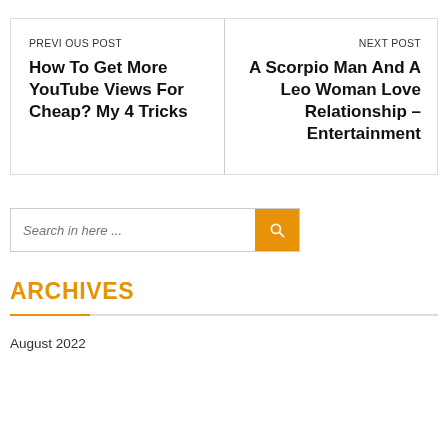PREVIOUS POST
How To Get More YouTube Views For Cheap? My 4 Tricks
NEXT POST
A Scorpio Man And A Leo Woman Love Relationship – Entertainment
Search in here ...
ARCHIVES
August 2022